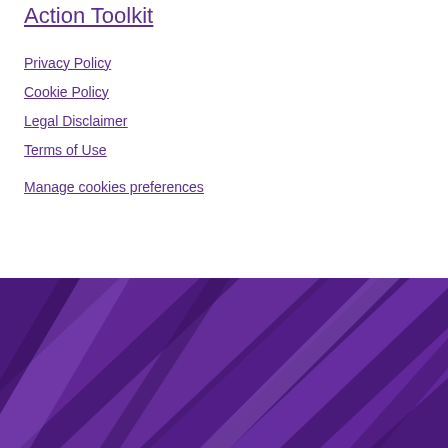Action Toolkit
Privacy Policy
Cookie Policy
Legal Disclaimer
Terms of Use
Manage cookies preferences
[Figure (illustration): Dark purple background with abstract geometric diagonal stripe pattern in lighter purple tones, decorative footer banner]